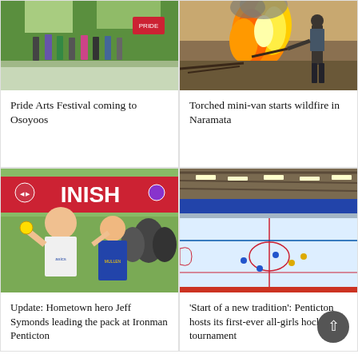[Figure (photo): People walking in a Pride Arts Festival parade on a sunny day]
Pride Arts Festival coming to Osoyoos
[Figure (photo): Person managing a wildfire with burning branches and flames]
Torched mini-van starts wildfire in Naramata
[Figure (photo): Two athletes celebrating at the Ironman triathlon finish line wearing ASICS gear]
Update: Hometown hero Jeff Symonds leading the pack at Ironman Penticton
[Figure (photo): Indoor ice hockey arena with players on the ice during a game]
'Start of a new tradition': Penticton hosts its first-ever all-girls hockey tournament